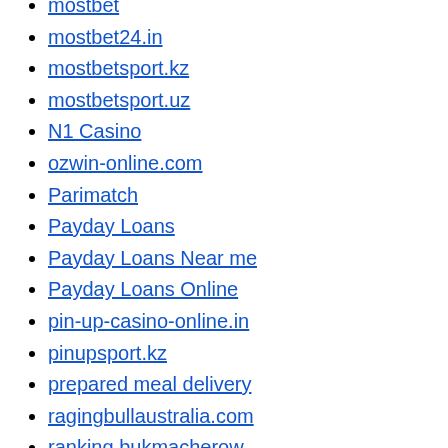mostbet
mostbet24.in
mostbetsport.kz
mostbetsport.uz
N1 Casino
ozwin-online.com
Parimatch
Payday Loans
Payday Loans Near me
Payday Loans Online
pin-up-casino-online.in
pinupsport.kz
prepared meal delivery
ragingbullaustralia.com
ranking bukmacherow
sex chat sites
sex sites
Sober living
Software development